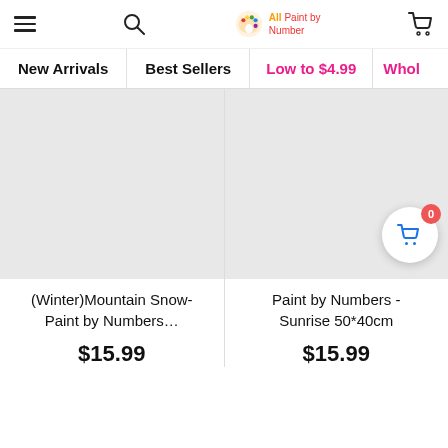All Paint by Numbers – navigation header with hamburger menu, search, logo, and cart icon
New Arrivals | Best Sellers | Low to $4.99 | Whol…
[Figure (photo): Product image placeholder (grey box) for (Winter)Mountain Snow-Paint by Numbers]
(Winter)Mountain Snow-Paint by Numbers…
$15.99
[Figure (photo): Product image placeholder (grey box) for Paint by Numbers - Sunrise 50*40cm, with floating cart button showing 0 items]
Paint by Numbers - Sunrise 50*40cm
$15.99